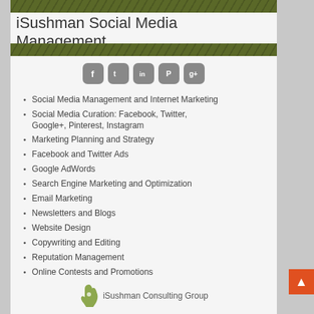iSushman Social Media Management
[Figure (illustration): Row of five social media icons: Facebook, Twitter, LinkedIn, Pinterest, Google+]
Social Media Management and Internet Marketing
Social Media Curation: Facebook, Twitter, Google+, Pinterest, Instagram
Marketing Planning and Strategy
Facebook and Twitter Ads
Google AdWords
Search Engine Marketing and Optimization
Email Marketing
Newsletters and Blogs
Website Design
Copywriting and Editing
Reputation Management
Online Contests and Promotions
[Figure (logo): iSushman Consulting Group logo with hand icon]